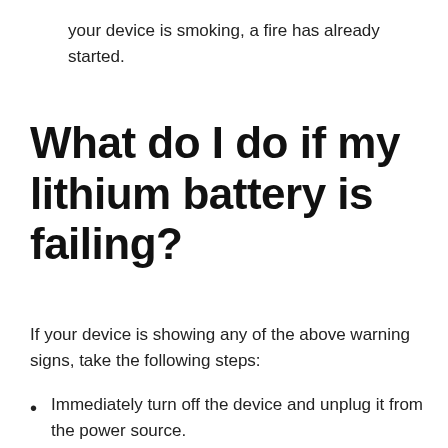your device is smoking, a fire has already started.
What do I do if my lithium battery is failing?
If your device is showing any of the above warning signs, take the following steps:
Immediately turn off the device and unplug it from the power source.